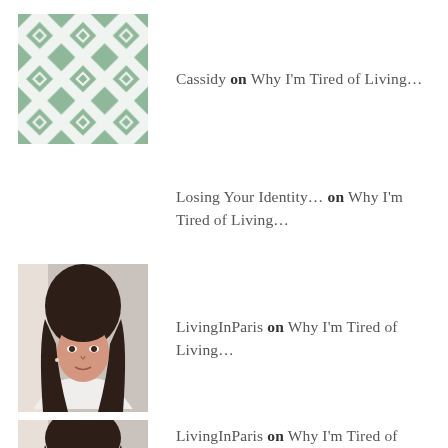[Figure (illustration): Geometric green/sage cross and star pattern tile, used as avatar thumbnail]
Cassidy on Why I'm Tired of Living…
Losing Your Identity… on Why I'm Tired of Living…
[Figure (photo): Portrait photo of a young woman with long dark brown hair, wearing a white top, indoor setting with natural light]
LivingInParis on Why I'm Tired of Living…
[Figure (photo): Portrait photo of the same young woman, partially cropped at bottom of page]
LivingInParis on Why I'm Tired of Living…